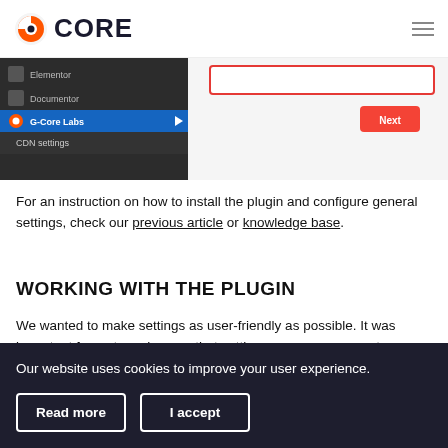CORE
[Figure (screenshot): Screenshot of a WordPress admin sidebar showing menu items including Elementor, Documentor, G-Core Labs, and CDN settings, with a red-bordered input field and orange Next button visible]
For an instruction on how to install the plugin and configure general settings, check our previous article or knowledge base.
WORKING WITH THE PLUGIN
We wanted to make settings as user-friendly as possible. It was important for us to make sure that setting necessary parameters could take just a couple of clicks and simple functionality should in no way limit the plugin
Our website uses cookies to improve your user experience.
Read more
I accept